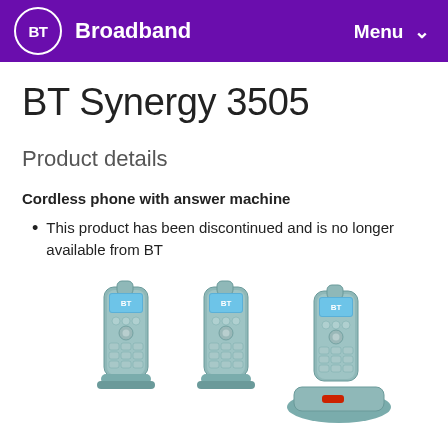BT Broadband — Menu
BT Synergy 3505
Product details
Cordless phone with answer machine
This product has been discontinued and is no longer available from BT
[Figure (photo): Three BT Synergy 3505 cordless phones with charging base — two handsets standing upright and one handset with a charging dock/base unit, all in silver/teal color with blue LCD screens]